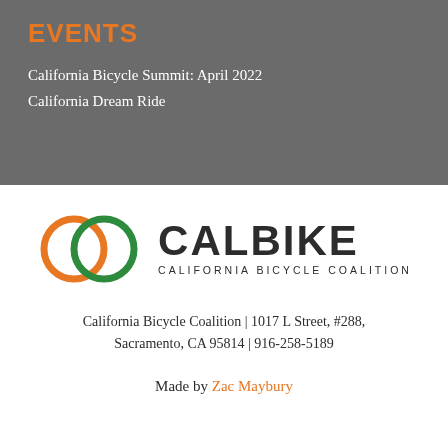EVENTS
California Bicycle Summit: April 2022
California Dream Ride
[Figure (logo): CalBike California Bicycle Coalition logo with two interlocking circles in orange and green, followed by the text CALBIKE and CALIFORNIA BICYCLE COALITION]
California Bicycle Coalition | 1017 L Street, #288, Sacramento, CA 95814 | 916-258-5189
Made by Zac Maybury